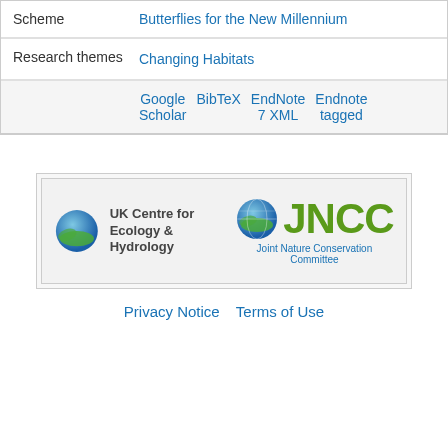| Field | Value |
| --- | --- |
| Scheme | Butterflies for the New Millennium |
| Research themes | Changing Habitats |
|  | Google Scholar  BibTeX  EndNote 7 XML  Endnote tagged |
[Figure (logo): UK Centre for Ecology & Hydrology and JNCC (Joint Nature Conservation Committee) logos side by side in a bordered box]
Privacy Notice  Terms of Use